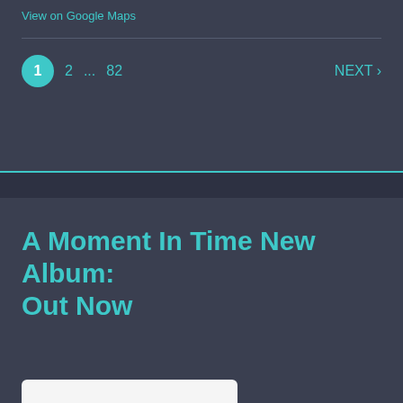View on Google Maps
1  2  ...  82  NEXT ›
A Moment In Time New Album: Out Now
A Brand New Day